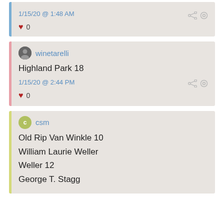1/15/20 @ 1:48 AM
♥ 0
winetarelli
Highland Park 18
1/15/20 @ 2:44 PM
♥ 0
csm
Old Rip Van Winkle 10
William Laurie Weller
Weller 12
George T. Stagg